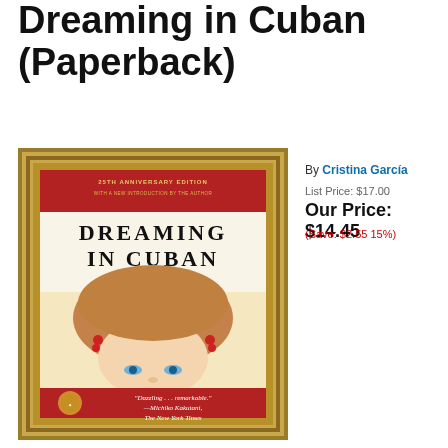Dreaming in Cuban (Paperback)
[Figure (photo): Book cover of 'Dreaming in Cuban' by Cristina García — 25th Anniversary Edition with a new introduction by the author. Shows the title 'DREAMING IN CUBAN A Novel' in bold black text, with an illustration of a woman's face with wavy auburn hair and blue eyes, and a red banner at top and bottom. Gold ornate frame border. Bottom red section has a quote: 'Dazzling...remarkable.' —Michiko Kakutani, The New York Times]
By Cristina García
List Price: $17.00
Our Price: $14.45
(Save: $2.55 15%)